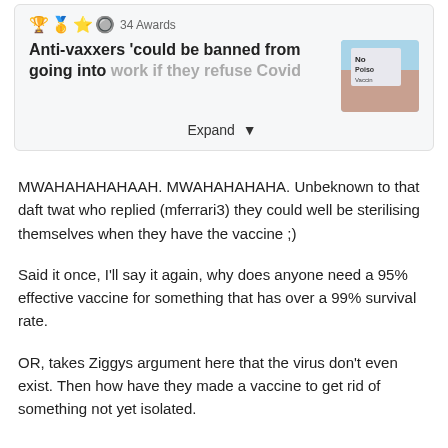[Figure (screenshot): Reddit post card showing headline 'Anti-vaxxers could be banned from going into work if they refuse Covid' with 34 Awards, emoji icons, a thumbnail image of a protest sign, and an Expand button]
MWAHAHAHAHAAH. MWAHAHAHAHA. Unbeknown to that daft twat who replied (mferrari3) they could well be sterilising themselves when they have the vaccine ;)
Said it once, I'll say it again, why does anyone need a 95% effective vaccine for something that has over a 99% survival rate.
OR, takes Ziggys argument here that the virus don't even exist. Then how have they made a vaccine to get rid of something not yet isolated.